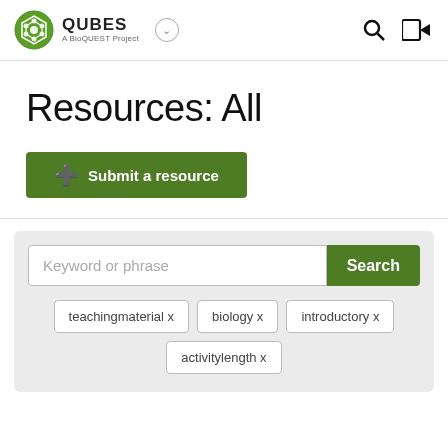QUBES A BioQUEST Project
Resources: All
Submit a resource
[Figure (screenshot): Search box with placeholder 'Keyword or phrase' and a green Search button, with filter tags: teachingmaterial x, biology x, introductory x, activitylength x]